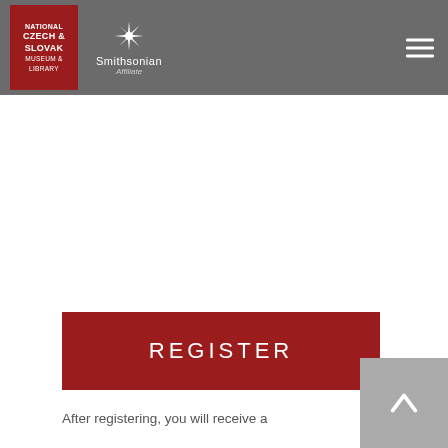[Figure (logo): National Czech & Slovak Museum & Library red logo box with Smithsonian Affiliate logo, website header navigation bar with hamburger menu]
[Figure (screenshot): White content area, mostly blank/white space in the middle of the page]
[Figure (other): Dark red REGISTER button]
After registering, you will receive a